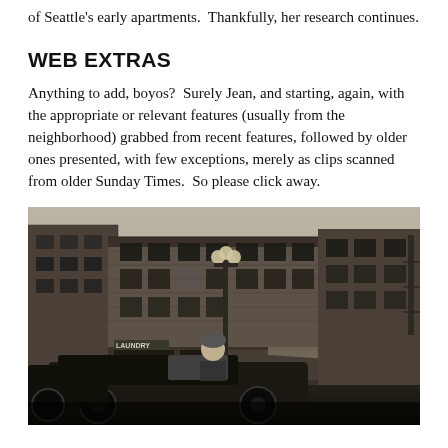of Seattle's early apartments.  Thankfully, her research continues.
WEB EXTRAS
Anything to add, boyos?  Surely Jean, and starting, again, with the appropriate or relevant features (usually from the neighborhood) grabbed from recent features, followed by older ones presented, with few exceptions, merely as clips scanned from older Sunday Times.  So please click away.
[Figure (photo): Black and white historical photograph of a street scene, likely in Seattle, showing an early automobile in the foreground with a driver, and multi-story brick buildings in the background including a laundry business and fire escapes.]